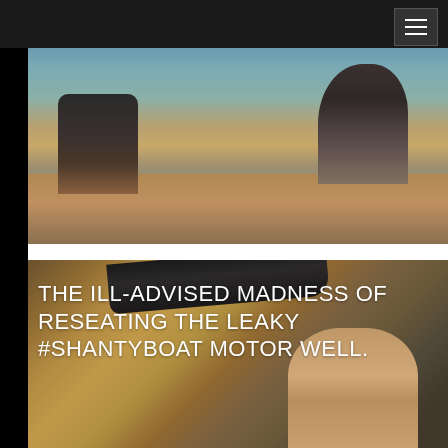[Figure (photo): Two people sitting in a wooden boat on water, viewed from above and behind. One person in dark shirt and blue shorts is seated in the middle, another person in a hat is on the right. Water is visible in the background.]
[Figure (photo): Close-up of a person with glasses examining or working on the interior of a wooden boat motor well. A dark hose or pipe is visible at the top. The interior shows reddish-brown wood with what appears to be sealant or repair work being done.]
THE ILL-ADVISED MADNESS OF RESEATING THE LEAKY #SHANTYBOAT MOTOR WELL.